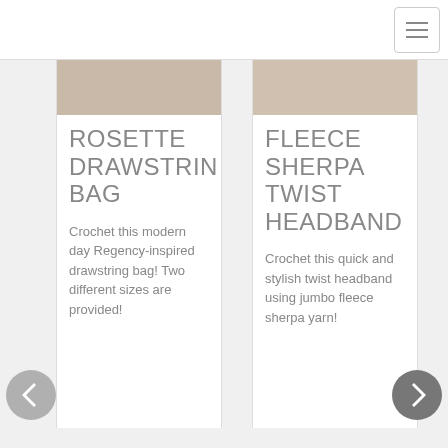Navigation bar with hamburger menu
[Figure (photo): Partial photo at top of left card, showing warm-toned scene]
ROSETTE DRAWSTRING BAG
Crochet this modern day Regency-inspired drawstring bag! Two different sizes are provided!
[Figure (photo): Partial photo at top of right card, showing person wearing headband]
FLEECE SHERPA TWIST HEADBAND
Crochet this quick and stylish twist headband using jumbo fleece sherpa yarn!